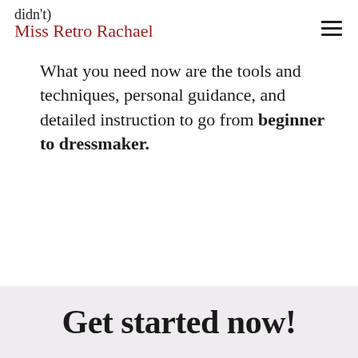Miss Retro Rachael
What you need now are the tools and techniques, personal guidance, and detailed instruction to go from beginner to dressmaker.
Get started now!